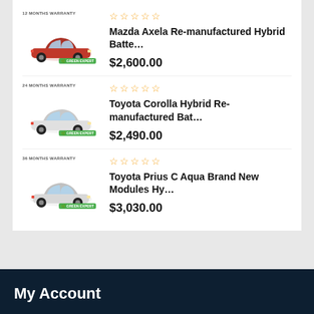[Figure (other): Product listing card with 3 hybrid car battery products. Each has a car image with warranty badge, 5 empty star rating, product name truncated with ellipsis, and price.]
Mazda Axela Re-manufactured Hybrid Batte...
$2,600.00
Toyota Corolla Hybrid Re-manufactured Bat...
$2,490.00
Toyota Prius C Aqua Brand New Modules Hy...
$3,030.00
My Account